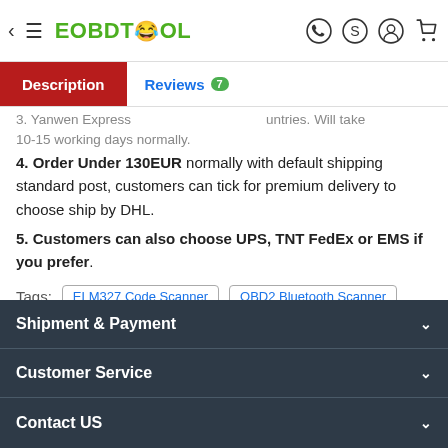EOBDTOOL
3. Yanwen Express ... countries. Will take 10-15 working days normally.
4. Order Under 130EUR normally with default shipping standard post, customers can tick for premium delivery to choose ship by DHL.
5. Customers can also choose UPS, TNT FedEx or EMS if you prefer.
Tags: ELM327 Code Scanner  OBD2 Bluetooth Scanner
Back to top
Shipment & Payment  Customer Service  Contact US